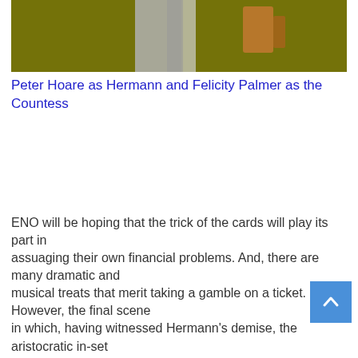[Figure (photo): Partial photograph showing two figures against a dark olive/yellow background — one figure in grey/white, another with an orange-brown arm visible]
Peter Hoare as Hermann and Felicity Palmer as the Countess
ENO will be hoping that the trick of the cards will play its part in assuaging their own financial problems. And, there are many dramatic and musical treats that merit taking a gamble on a ticket. However, the final scene in which, having witnessed Hermann's demise, the aristocratic in-set nonchalant drink, smoke and flick cards into the air, seems hard of heart.
Alden suggests: Hermann is gone and forgotten and let that be a lesson to you all. But, given that Hermann has paid with his soul, he